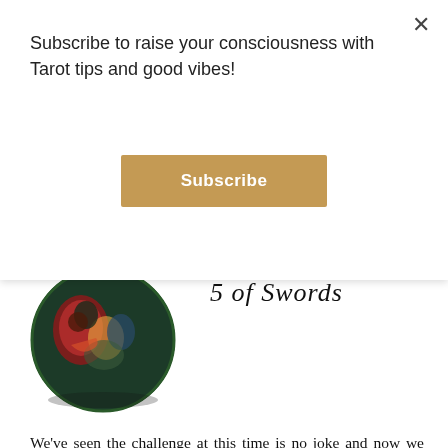Subscribe to raise your consciousness with Tarot tips and good vibes!
[Figure (other): Subscribe button — golden/tan colored rectangular button with white bold text 'Subscribe']
[Figure (illustration): Tarot card image showing a dark, colorful circular illustration of figures with muted greens, reds, and blues — partially cropped at top]
5 of Swords
We've seen the challenge at this time is no joke and now we have an idea of what it entails. The thing is, the environment won't necessarily be conducive to drawing on that inner strength. There's a lot going on and the material matters in our lives will likely be a source of worry. There's a possibility of further material loss in the environment (job, money, social status) but again, this is a test. Now that our ancestors have been gracious enough to validate what many of